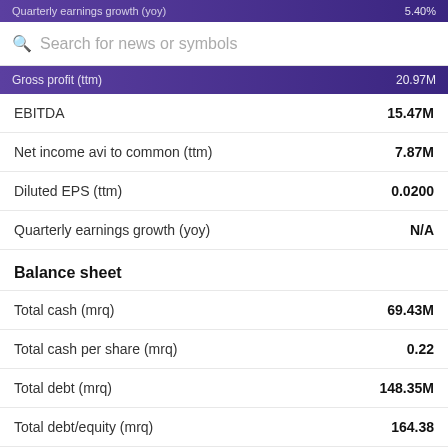Quarterly earnings growth (yoy) ... Gross profit (ttm) 20.97M
Search for news or symbols
| Metric | Value |
| --- | --- |
| EBITDA | 15.47M |
| Net income avi to common (ttm) | 7.87M |
| Diluted EPS (ttm) | 0.0200 |
| Quarterly earnings growth (yoy) | N/A |
Balance sheet
| Metric | Value |
| --- | --- |
| Total cash (mrq) | 69.43M |
| Total cash per share (mrq) | 0.22 |
| Total debt (mrq) | 148.35M |
| Total debt/equity (mrq) | 164.38 |
| Current ratio (mrq) | 3.17 |
| Book value per share (mrq) | 0.30 |